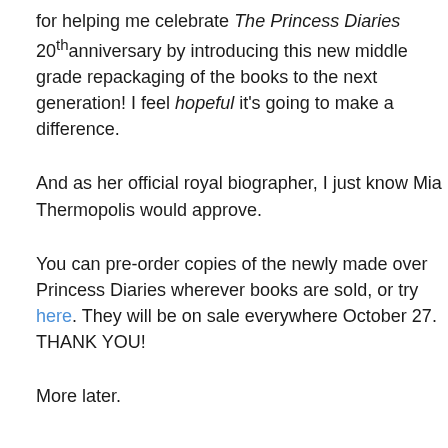for helping me celebrate The Princess Diaries 20th anniversary by introducing this new middle grade repackaging of the books to the next generation! I feel hopeful it's going to make a difference.
And as her official royal biographer, I just know Mia Thermopolis would approve.
You can pre-order copies of the newly made over Princess Diaries wherever books are sold, or try here. They will be on sale everywhere October 27. THANK YOU!
More later.